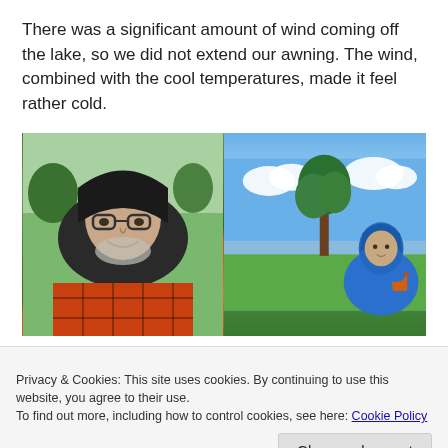There was a significant amount of wind coming off the lake, so we did not extend our awning. The wind, combined with the cool temperatures, made it feel rather cold.
[Figure (photo): Two side-by-side photos. Left: close-up of a man wearing glasses and an orange plaid jacket with a dark hoodie pulled over his head, smiling outdoors. Right: a woman in a blue hoodie sitting near a tall tree with a lake and blue sky in the background, holding an orange cup.]
Privacy & Cookies: This site uses cookies. By continuing to use this website, you agree to their use.
To find out more, including how to control cookies, see here: Cookie Policy
Close and accept
busyness of the work week we had just left behind.